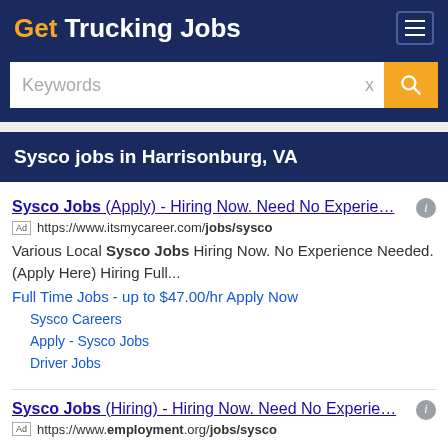Get Trucking Jobs
Keywords
Sysco jobs in Harrisonburg, VA
Sysco Jobs (Apply) - Hiring Now. Need No Experie…
Ad https://www.itsmycareer.com/jobs/sysco
Various Local Sysco Jobs Hiring Now. No Experience Needed. (Apply Here) Hiring Full...
Full Time Jobs - up to $47.00/hr Apply Now
Sysco Careers
Apply - Sysco Jobs
Driver Jobs
Sysco Jobs (Hiring) - Hiring Now. Need No Experie…
Ad https://www.employment.org/jobs/sysco